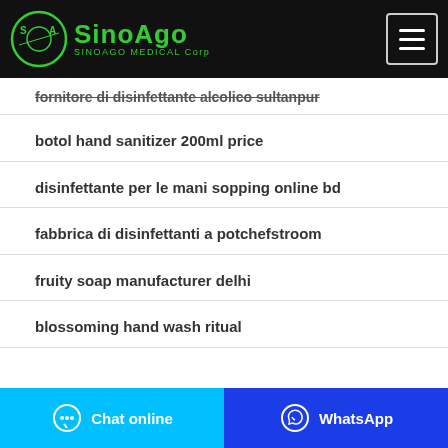SinoAgo Medical Corp
fornitore di disinfettante alcolico sultanpur
botol hand sanitizer 200ml price
disinfettante per le mani sopping online bd
fabbrica di disinfettanti a potchefstroom
fruity soap manufacturer delhi
blossoming hand wash ritual
Chat online | WhatsApp